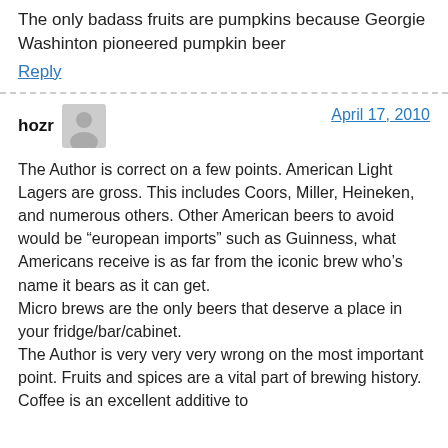The only badass fruits are pumpkins because Georgie Washinton pioneered pumpkin beer
Reply
hozr
April 17, 2010
The Author is correct on a few points. American Light Lagers are gross. This includes Coors, Miller, Heineken, and numerous others. Other American beers to avoid would be “european imports” such as Guinness, what Americans receive is as far from the iconic brew who’s name it bears as it can get.
Micro brews are the only beers that deserve a place in your fridge/bar/cabinet.
The Author is very very very wrong on the most important point. Fruits and spices are a vital part of brewing history. Coffee is an excellent additive to